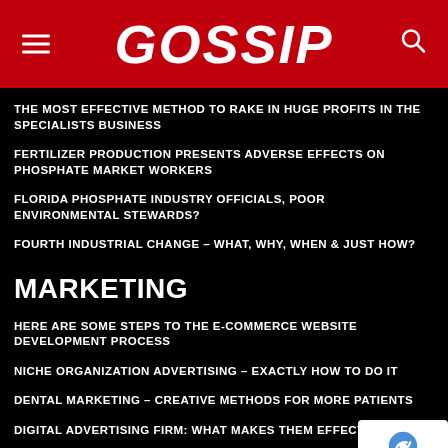GOSSIP
THE MOST EFFECTIVE METHOD TO RAKE IN HUGE PROFITS IN THE SPECIALISTS BUSINESS
FERTILIZER PRODUCTION PRESENTS ADVERSE EFFECTS ON PHOSPHATE MARKET WORKERS
FLORIDA PHOSPHATE INDUSTRY OFFICIALS, POOR ENVIRONMENTAL STEWARDS?
FOURTH INDUSTRIAL CHANGE – WHAT, WHY, WHEN & JUST HOW?
MARKETING
HERE ARE SOME STEPS TO THE E-COMMERCE WEBSITE DEVELOPMENT PROCESS
NICHE ORGANIZATION ADVERTISING – EXACTLY HOW TO DO IT
DENTAL MARKETING – CREATIVE METHODS FOR MORE PATIENTS
DIGITAL ADVERTISING FIRM: WHAT MAKES THEM EFFECTIVE?
EMAIL MARKETING TIPS THAT JOB